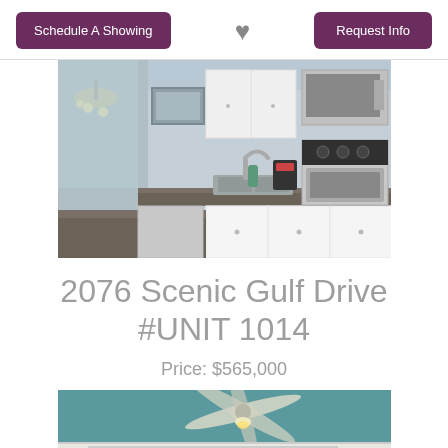Schedule A Showing | ♥ | Request Info
[Figure (photo): Kitchen interior with granite countertops, stainless steel appliances, white cabinets, and a chandelier visible in the background]
2076 Scenic Gulf Drive #UNIT 1014
Price: $565,000
[Figure (photo): Ceiling fan with light fixture against teal/blue ceiling, with window blinds visible below]